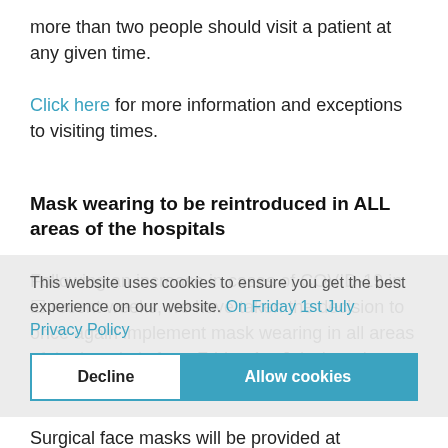more than two people should visit a patient at any given time.
Click here for more information and exceptions to visiting times.
Mask wearing to be reintroduced in ALL areas of the hospitals
Following an increase in cases of COVID-19 in recent weeks, we have taken the decision to once again implement mask wearing in all areas of the hospitals from Friday 1st July, in order to reduce transmission of the virus.
This website uses cookies to ensure you get the best experience on our website. Privacy Policy
Surgical face masks will be provided at designated entrances for our staff and all members of the public. These must be worn when moving around